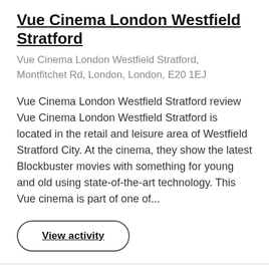Vue Cinema London Westfield Stratford
Vue Cinema London Westfield Stratford, Montfitchet Rd, London, London, E20 1EJ
Vue Cinema London Westfield Stratford review Vue Cinema London Westfield Stratford is located in the retail and leisure area of Westfield Stratford City. At the cinema, they show the latest Blockbuster movies with something for young and old using state-of-the-art technology. This Vue cinema is part of one of...
View activity